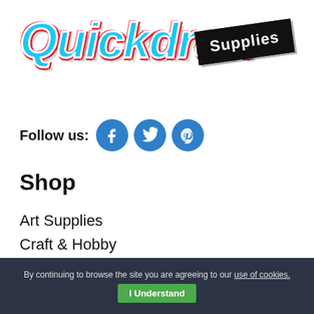[Figure (logo): Quickdraw Supplies logo — stylized cursive 'Quickdraw' text in blue with red outline, and a 'Supplies' badge in a black rectangle, rotated slightly]
Follow us:
[Figure (infographic): Three circular social media icons: Facebook (f), Twitter (bird), Pinterest (P) — all in blue circles with white icons]
Shop
Art Supplies
Craft & Hobby
Home & Leisure
Party Supplies
Stationery & Office
Seasonal
By continuing to browse the site you are agreeing to our use of cookies.
I Understand